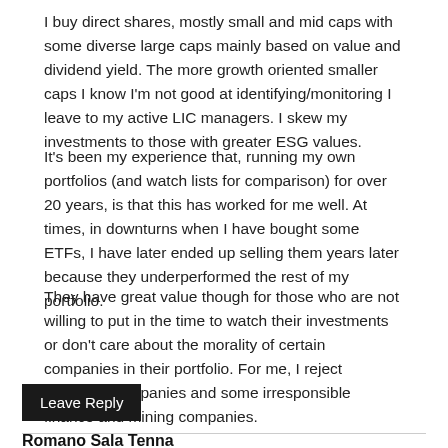I buy direct shares, mostly small and mid caps with some diverse large caps mainly based on value and dividend yield. The more growth oriented smaller caps I know I'm not good at identifying/monitoring I leave to my active LIC managers. I skew my investments to those with greater ESG values.
It's been my experience that, running my own portfolios (and watch lists for comparison) for over 20 years, is that this has worked for me well. At times, in downturns when I have bought some ETFs, I have later ended up selling them years later because they underperformed the rest of my portfolio.
They have great value though for those who are not willing to put in the time to watch their investments or don't care about the morality of certain companies in their portfolio. For me, I reject gambling companies and some irresponsible finance and mining companies.
Leave Reply
Romano Sala Tenna
August 25, 2021
Hi James (reply 2, we'll need to leave it for now if this does not